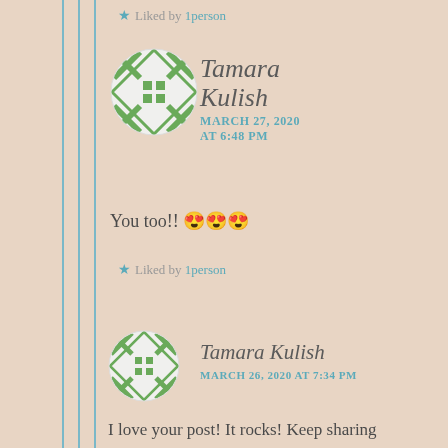★ Liked by 1person
[Figure (illustration): Circular avatar with green geometric/diamond pattern on white background – Tamara Kulish profile image (large)]
Tamara Kulish
MARCH 27, 2020 AT 6:48 PM
You too!! 😍😍😍
★ Liked by 1person
[Figure (illustration): Circular avatar with green geometric/diamond pattern on white background – Tamara Kulish profile image (smaller)]
Tamara Kulish
MARCH 26, 2020 AT 7:34 PM
I love your post! It rocks! Keep sharing